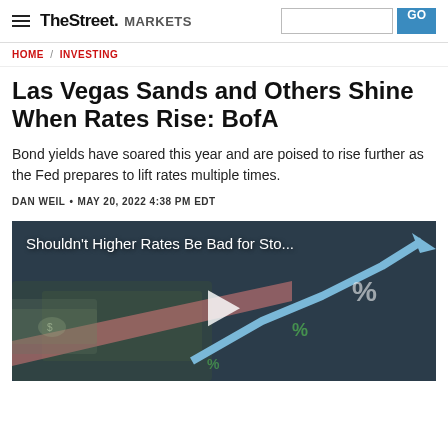TheStreet MARKETS
HOME / INVESTING
Las Vegas Sands and Others Shine When Rates Rise: BofA
Bond yields have soared this year and are poised to rise further as the Fed prepares to lift rates multiple times.
DAN WEIL • MAY 20, 2022 4:38 PM EDT
[Figure (screenshot): Video thumbnail showing money and percentage signs with text 'Shouldn't Higher Rates Be Bad for Sto...' and a play button overlay]